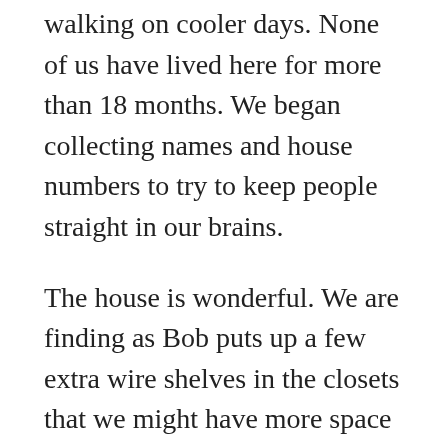walking on cooler days. None of us have lived here for more than 18 months. We began collecting names and house numbers to try to keep people straight in our brains.
The house is wonderful. We are finding as Bob puts up a few extra wire shelves in the closets that we might have more space than we imagined! Once his workbench arrives and rakes and mops get put up on the garage walls we will know more